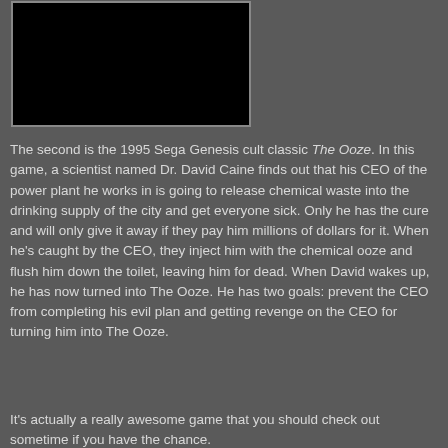[Figure (photo): A black rectangular image, likely a screenshot or photo from the game The Ooze, positioned in the upper-left area of the page.]
The second is the 1995 Sega Genesis cult classic The Ooze. In this game, a scientist named Dr. David Caine finds out that his CEO of the power plant he works in is going to release chemical waste into the drinking supply of the city and get everyone sick. Only he has the cure and will only give it away if they pay him millions of dollars for it. When he's caught by the CEO, they inject him with the chemical ooze and flush him down the toilet, leaving him for dead. When David wakes up, he has now turned into The Ooze. He has two goals: prevent the CEO from completing his evil plan and getting revenge on the CEO for turning him into The Ooze.
It's actually a really awesome game that you should check out sometime if you have the chance.